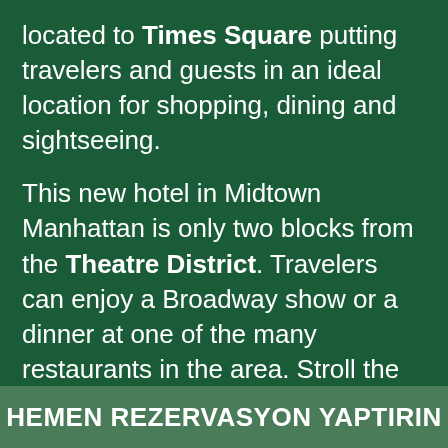located to Times Square putting travelers and guests in an ideal location for shopping, dining and sightseeing.
This new hotel in Midtown Manhattan is only two blocks from the Theatre District. Travelers can enjoy a Broadway show or a dinner at one of the many restaurants in the area. Stroll the sidewalk for sightseeing and entertainment or board the subway for easy transportation. The hotel is located near New York Penn Station and Port Authority Bus Terminal.
HEMEN REZERVASYON YAPTIRIN